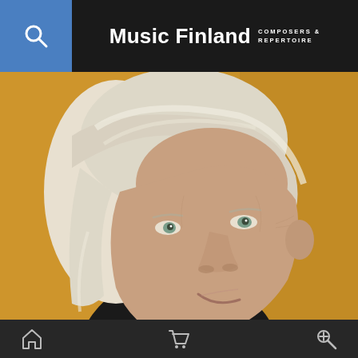Music Finland COMPOSERS & REPERTOIRE
[Figure (photo): Portrait photo of an older man with white/blonde hair against a golden/amber background, photographed from slightly below, facing right. The man wears a dark top and appears to be smiling slightly.]
Home icon, Shopping cart icon, Search/key icon